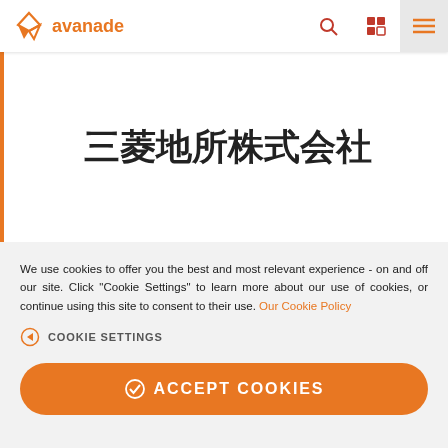avanade
三菱地所株式会社
We use cookies to offer you the best and most relevant experience - on and off our site. Click "Cookie Settings" to learn more about our use of cookies, or continue using this site to consent to their use. Our Cookie Policy
COOKIE SETTINGS
ACCEPT COOKIES